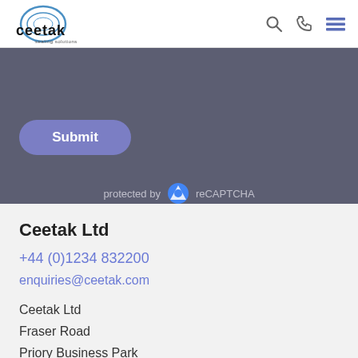Ceetak sealing solutions — header with logo, search, phone, and menu icons
[Figure (screenshot): Submit button (purple rounded rectangle) on dark grey background, with reCAPTCHA protection notice below]
Ceetak Ltd
+44 (0)1234 832200
enquiries@ceetak.com
Ceetak Ltd
Fraser Road
Priory Business Park
Bedford